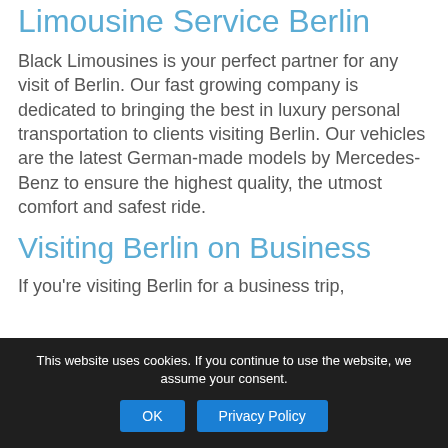Limousine Service Berlin
Black Limousines is your perfect partner for any visit of Berlin. Our fast growing company is dedicated to bringing the best in luxury personal transportation to clients visiting Berlin. Our vehicles are the latest German-made models by Mercedes-Benz to ensure the highest quality, the utmost comfort and safest ride.
Visiting Berlin on Business
If you're visiting Berlin for a business trip,
This website uses cookies. If you continue to use the website, we assume your consent.